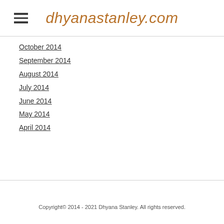dhyanastanley.com
October 2014
September 2014
August 2014
July 2014
June 2014
May 2014
April 2014
Copyright©  2014 - 2021 Dhyana Stanley. All rights reserved.